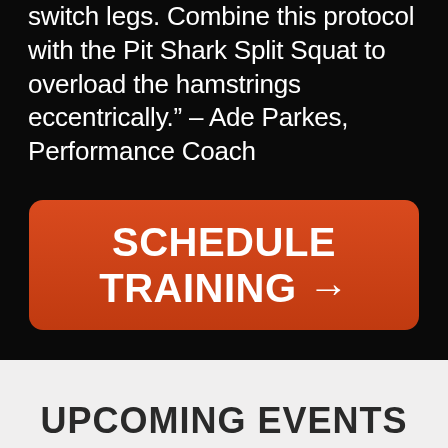switch legs. Combine this protocol with the Pit Shark Split Squat to overload the hamstrings eccentrically." – Ade Parkes, Performance Coach
[Figure (other): Large red rounded-rectangle call-to-action button with white bold text reading SCHEDULE TRAINING →]
UPCOMING EVENTS